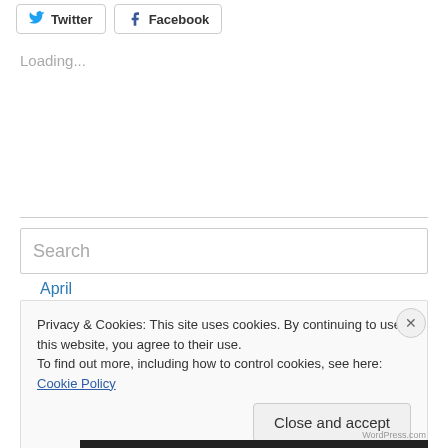[Figure (other): Social share buttons: Twitter and Facebook]
Loading...
April 5, 2013
Search
Privacy & Cookies: This site uses cookies. By continuing to use this website, you agree to their use.
To find out more, including how to control cookies, see here: Cookie Policy
Close and accept